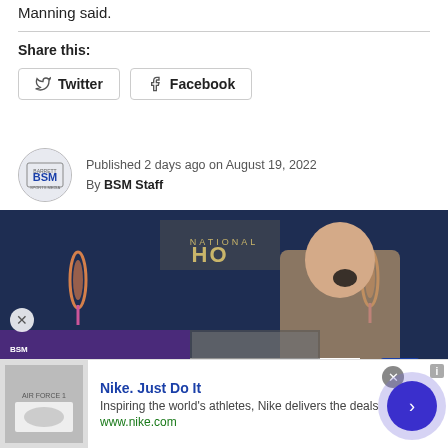Manning said.
Share this:
Twitter
Facebook
Published 2 days ago on August 19, 2022
By BSM Staff
[Figure (photo): Photo of a man in a tan suit at the NFL Honors event, with BSM Media Noise podcast overlay and Nielsen logo overlay]
[Figure (infographic): Nike advertisement banner: Nike. Just Do It. Inspiring the world's athletes, Nike delivers the deals. www.nike.com]